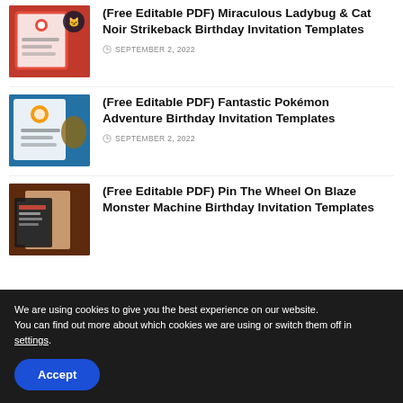(Free Editable PDF) Miraculous Ladybug & Cat Noir Strikeback Birthday Invitation Templates
(Free Editable PDF) Fantastic Pokémon Adventure Birthday Invitation Templates
(Free Editable PDF) Pin The Wheel On Blaze Monster Machine Birthday Invitation Templates
We are using cookies to give you the best experience on our website.
You can find out more about which cookies we are using or switch them off in settings.
Accept